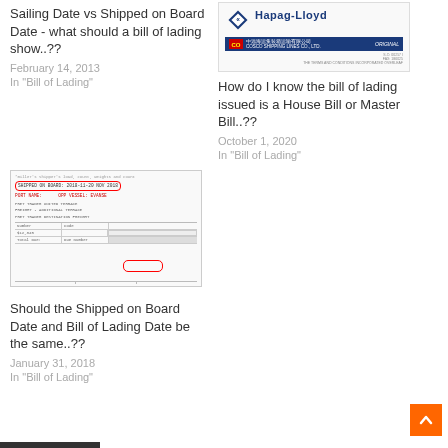Sailing Date vs Shipped on Board Date - what should a bill of lading show..??
February 14, 2013
In "Bill of Lading"
[Figure (photo): Hapag-Lloyd and COSCO Shipping Lines bill of lading document header showing logos and ORIGINAL stamp]
How do I know the bill of lading issued is a House Bill or Master Bill..??
October 1, 2020
In "Bill of Lading"
[Figure (photo): Bill of lading document with red oval highlights around Shipped on Board date and signature area]
Should the Shipped on Board Date and Bill of Lading Date be the same..??
January 31, 2018
In "Bill of Lading"